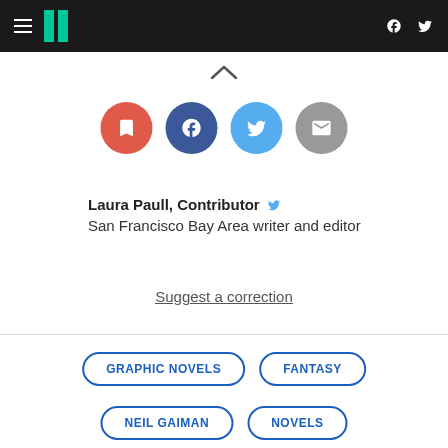HuffPost navigation header with hamburger menu, logo, Facebook and Twitter icons
[Figure (infographic): Four social sharing circles: bookmark (red), Facebook (dark blue), Twitter (light blue), email (grey)]
Laura Paull, Contributor [Twitter icon]
San Francisco Bay Area writer and editor
Suggest a correction
GRAPHIC NOVELS
FANTASY
NEIL GAIMAN
NOVELS